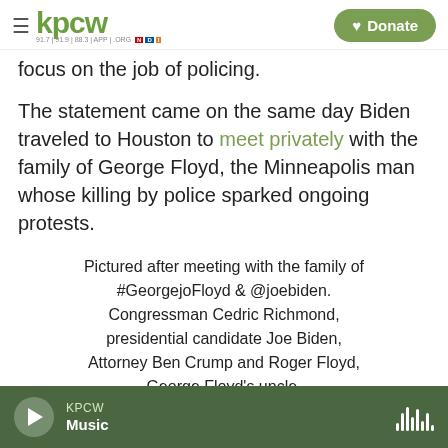KPCW — Donate
focus on the job of policing.
The statement came on the same day Biden traveled to Houston to meet privately with the family of George Floyd, the Minneapolis man whose killing by police sparked ongoing protests.
Pictured after meeting with the family of #GeorgejoFloyd & @joebiden. Congressman Cedric Richmond, presidential candidate Joe Biden, Attorney Ben Crump and Roger Floyd, George Floyd's uncle.
KPCW Music